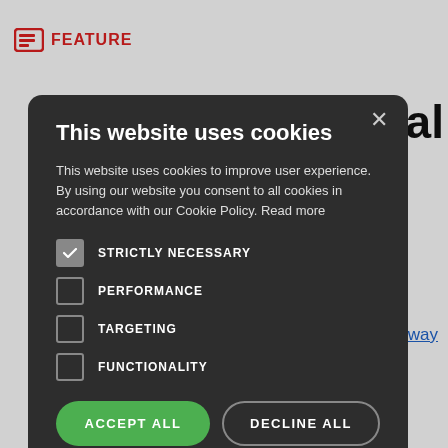FEATURE
o Digital
e Hathway
[Figure (screenshot): Cookie consent modal dialog on a dark background. Title: 'This website uses cookies'. Body text explaining cookie usage. Four checkboxes: STRICTLY NECESSARY (checked), PERFORMANCE (unchecked), TARGETING (unchecked), FUNCTIONALITY (unchecked). Two buttons: ACCEPT ALL (green) and DECLINE ALL (outline). A SHOW DETAILS option with gear icon at the bottom.]
a vast
nectivity
Senior
rtfolios at
s Business
ess
olution for all